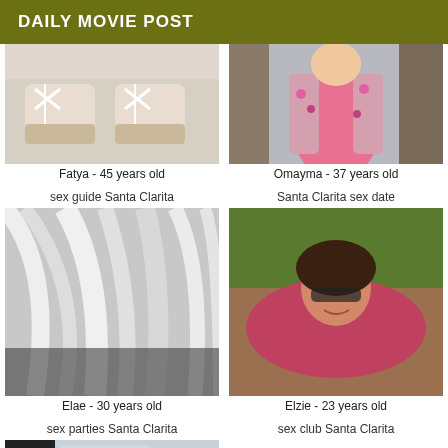DAILY MOVIE POST
[Figure (photo): Close-up photo of white wedge espadrille shoes on a light background]
Fatya - 45 years old
[Figure (photo): Woman wearing pink dress with floral jacket]
Omayma - 37 years old
sex guide Santa Clarita
Santa Clarita sex date
[Figure (photo): Black and white photo of blonde hair close-up]
Elae - 30 years old
[Figure (photo): Young woman lying down outdoors, warm toned photo]
Elzie - 23 years old
sex parties Santa Clarita
sex club Santa Clarita
[Figure (photo): Partial photo of a person, cropped at bottom of page]